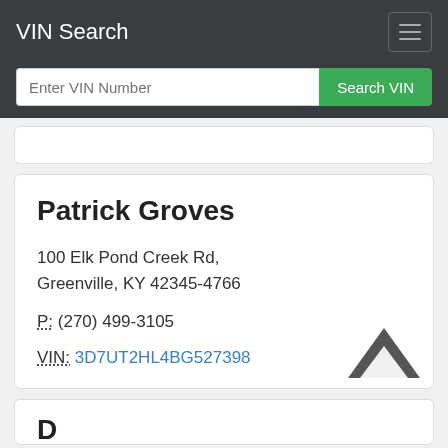VIN Search
Enter VIN Number  Search VIN
Patrick Groves
100 Elk Pond Creek Rd, Greenville, KY 42345-4766
P: (270) 499-3105
VIN: 3D7UT2HL4BG527398
D... K...